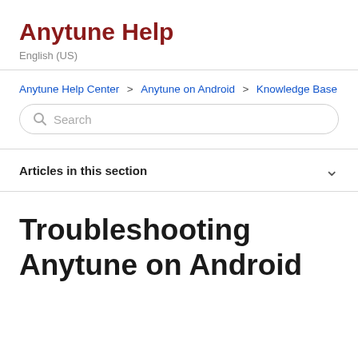Anytune Help
English (US)
Anytune Help Center > Anytune on Android > Knowledge Base
Search
Articles in this section
Troubleshooting Anytune on Android